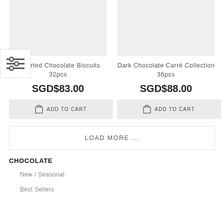[Figure (screenshot): Product image placeholder (light gray rectangle) for Assorted Chocolate Biscuits 32pcs]
[Figure (screenshot): Product image placeholder (light gray rectangle) for Dark Chocolate Carré Collection 36pcs]
Assorted Chocolate Biscuits 32pcs
SGD$83.00
ADD TO CART
Dark Chocolate Carré Collection 36pcs
SGD$88.00
ADD TO CART
LOAD MORE ...
CHOCOLATE
New / Seasonal
Best Sellers